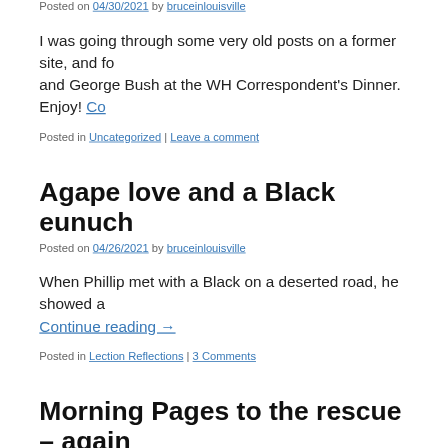Posted on 04/30/2021 by bruceinlouisville
I was going through some very old posts on a former site, and fo… and George Bush at the WH Correspondent's Dinner. Enjoy! Co…
Posted in Uncategorized | Leave a comment
Agape love and a Black eunuch
Posted on 04/26/2021 by bruceinlouisville
When Phillip met with a Black on a deserted road, he showed a… Continue reading →
Posted in Lection Reflections | 3 Comments
Morning Pages to the rescue – again
Posted on 04/22/2021 by bruceinlouisville
Now that I had the time to write, I discovered I had nothing to s…